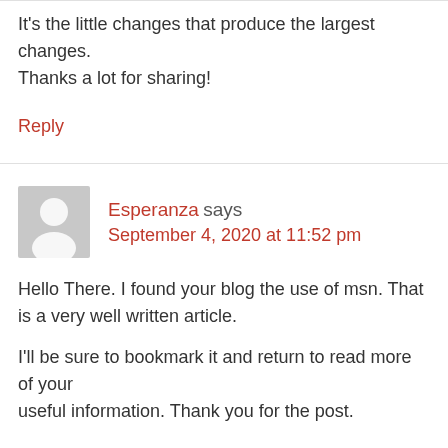It's the little changes that produce the largest changes.
Thanks a lot for sharing!
Reply
Esperanza says
September 4, 2020 at 11:52 pm
Hello There. I found your blog the use of msn. That is a very well written article.
I'll be sure to bookmark it and return to read more of your useful information. Thank you for the post.